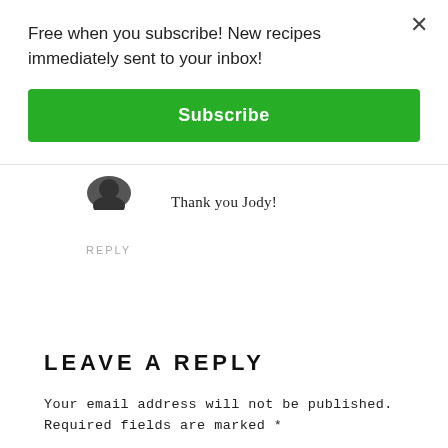Free when you subscribe! New recipes immediately sent to your inbox!
Subscribe
[Figure (photo): Partially visible circular avatar image at top of comment thread]
Thank you Jody!
REPLY
LEAVE A REPLY
Your email address will not be published. Required fields are marked *